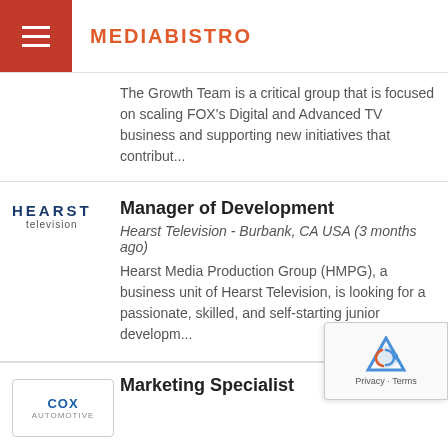MEDIABISTRO
The Growth Team is a critical group that is focused on scaling FOX's Digital and Advanced TV business and supporting new initiatives that contribut...
Manager of Development
Hearst Television - Burbank, CA USA (3 months ago)
Hearst Media Production Group (HMPG), a business unit of Hearst Television, is looking for a passionate, skilled, and self-starting junior developm...
Marketing Specialist